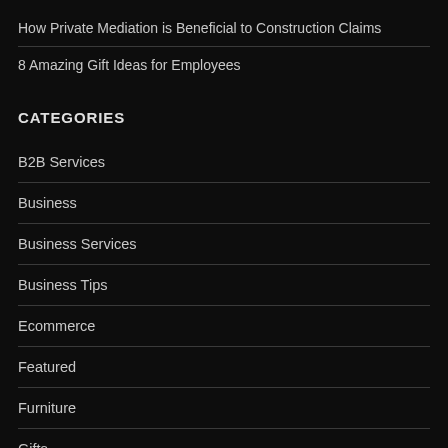How Private Mediation is Beneficial to Construction Claims
8 Amazing Gift Ideas for Employees
CATEGORIES
B2B Services
Business
Business Services
Business Tips
Ecommerce
Featured
Furniture
Gifts